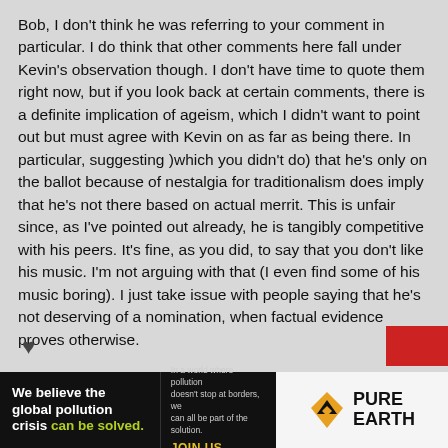Bob, I don't think he was referring to your comment in particular. I do think that other comments here fall under Kevin's observation though. I don't have time to quote them right now, but if you look back at certain comments, there is a definite implication of ageism, which I didn't want to point out but must agree with Kevin on as far as being there. In particular, suggesting )which you didn't do) that he's only on the ballot because of nestalgia for traditionalism does imply that he's not there based on actual merrit. This is unfair since, as I've pointed out already, he is tangibly competitive with his peers. It's fine, as you did, to say that you don't like his music. I'm not arguing with that (I even find some of his music boring). I just take issue with people saying that he's not deserving of a nomination, when factual evidence proves otherwise.
[Figure (other): Heart icon (like/upvote symbol) in dark color, and a red rectangle partially visible at the bottom right corner of the comment area.]
[Figure (infographic): Advertisement banner for Pure Earth. Left section: 'We believe the global pollution crisis can be solved.' Middle section: 'In a world where pollution doesn't stop at borders, we can all be part of the solution. JOIN US.' Right section: Pure Earth logo with diamond/triangle icon.]